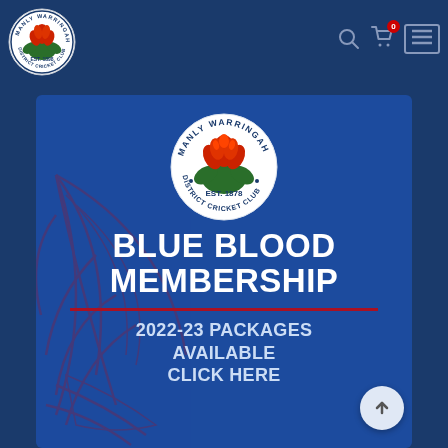[Figure (logo): Manly Warringah District Cricket Club circular logo in the navigation bar - white circle with red/green flower emblem and text around edge: MANLY WARRINGAH EST. 1898 DISTRICT CRICKET CLUB]
[Figure (screenshot): Blue background promotional banner for Manly Warringah District Cricket Club Blue Blood Membership 2022-23 packages. Features the club logo at top center, decorative maroon spider web/claw design on left, bold white text BLUE BLOOD MEMBERSHIP, red horizontal divider line, and text 2022-23 PACKAGES AVAILABLE CLICK HERE]
BLUE BLOOD MEMBERSHIP
2022-23 PACKAGES AVAILABLE CLICK HERE